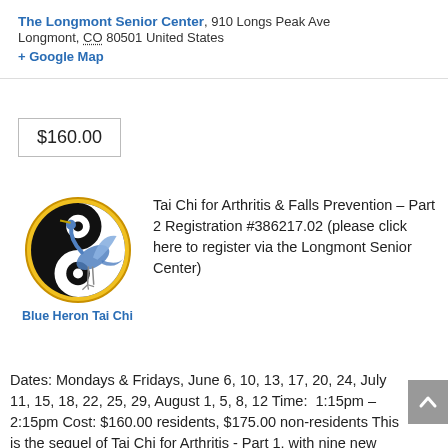The Longmont Senior Center, 910 Longs Peak Ave Longmont, CO 80501 United States + Google Map
$160.00
[Figure (logo): Blue Heron Tai Chi logo: a heron bird overlaid on a yin-yang symbol inside a golden circle, with caption 'Blue Heron Tai Chi' in blue below]
Tai Chi for Arthritis & Falls Prevention – Part 2 Registration #386217.02 (please click here to register via the Longmont Senior Center) Dates: Mondays & Fridays, June 6, 10, 13, 17, 20, 24, July 11, 15, 18, 22, 25, 29, August 1, 5, 8, 12 Time:  1:15pm – 2:15pm Cost: $160.00 residents, $175.00 non-residents This is the sequel of Tai Chi for Arthritis - Part 1, with nine new movements. Part 2 is ideal for those who have completed the